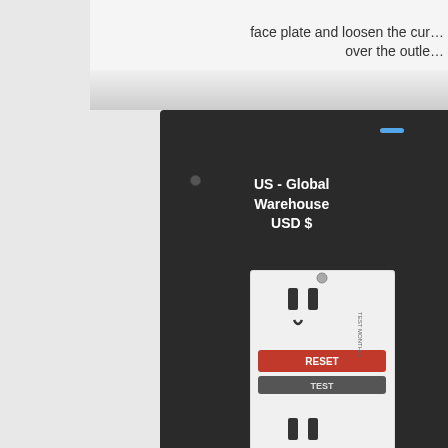face plate and loosen the cur... over the outlet
[Figure (photo): A dark-paneled electrical outlet box (GFCI outlet) shown mounted in a dark housing. The outlet is white with a red RESET button and TEST button. A popup tooltip shows 'US - Global Warehouse USD $'. There is a blue LED at the top, a toggle switch at the bottom, and a blue arrow pointing right. Grey screw holes are visible on the dark panel.]